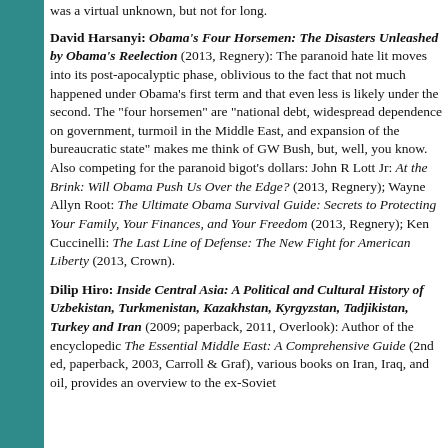was a virtual unknown, but not for long.
David Harsanyi: Obama's Four Horsemen: The Disasters Unleashed by Obama's Reelection (2013, Regnery): The paranoid hate lit moves into its post-apocalyptic phase, oblivious to the fact that not much happened under Obama's first term and that even less is likely under the second. The "four horsemen" are "national debt, widespread dependence on government, turmoil in the Middle East, and expansion of the bureaucratic state" makes me think of GW Bush, but, well, you know. Also competing for the paranoid bigot's dollars: John R Lott Jr: At the Brink: Will Obama Push Us Over the Edge? (2013, Regnery); Wayne Allyn Root: The Ultimate Obama Survival Guide: Secrets to Protecting Your Family, Your Finances, and Your Freedom (2013, Regnery); Ken Cuccinelli: The Last Line of Defense: The New Fight for American Liberty (2013, Crown).
Dilip Hiro: Inside Central Asia: A Political and Cultural History of Uzbekistan, Turkmenistan, Kazakhstan, Kyrgyzstan, Tadjikistan, Turkey and Iran (2009; paperback, 2011, Overlook): Author of the encyclopedic The Essential Middle East: A Comprehensive Guide (2nd ed, paperback, 2003, Carroll & Graf), various books on Iran, Iraq, and oil, provides an overview to the ex-Soviet...